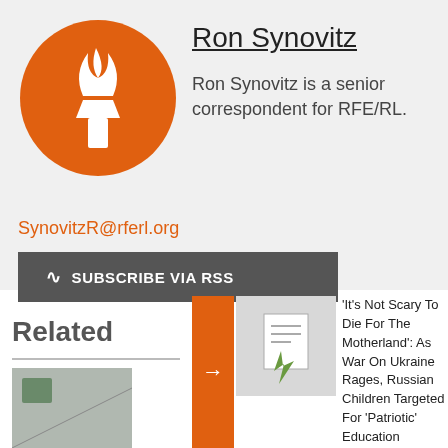[Figure (logo): RFE/RL orange circle logo with white torch/flame symbol]
Ron Synovitz
Ron Synovitz is a senior correspondent for RFE/RL.
SynovitzR@rferl.org
SUBSCRIBE VIA RSS
Related
[Figure (photo): Small thumbnail image placeholder]
'It's Not Scary To Die For The Motherland': As War On Ukraine Rages, Russian Children Targeted For 'Patriotic' Education